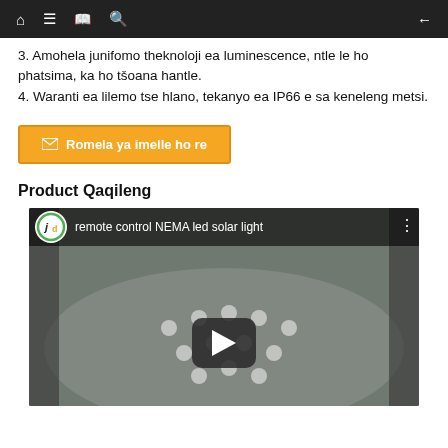Navigation bar with home, menu, book, search, and back icons
3. Amohela junifomo theknoloji ea luminescence, ntle le ho phatsima, ka ho tšoana hantle.
4. Waranti ea lilemo tse hlano, tekanyo ea IP66 e sa keneleng metsi.
[Figure (other): Orange email button with envelope icon labeled 'Romela ya imelle ho re']
Product Qaqileng
[Figure (screenshot): YouTube video thumbnail showing 'remote control NEMA led solar light' with play button, jd channel logo, and LED solar light image]